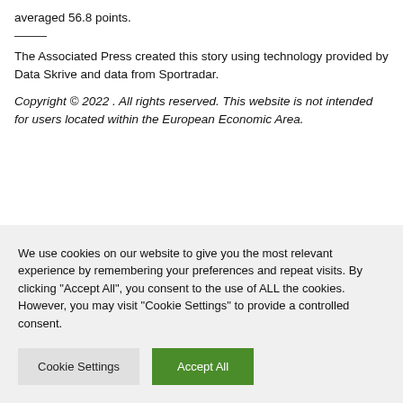averaged 56.8 points.
The Associated Press created this story using technology provided by Data Skrive and data from Sportradar.
Copyright © 2022 . All rights reserved. This website is not intended for users located within the European Economic Area.
We use cookies on our website to give you the most relevant experience by remembering your preferences and repeat visits. By clicking "Accept All", you consent to the use of ALL the cookies. However, you may visit "Cookie Settings" to provide a controlled consent.